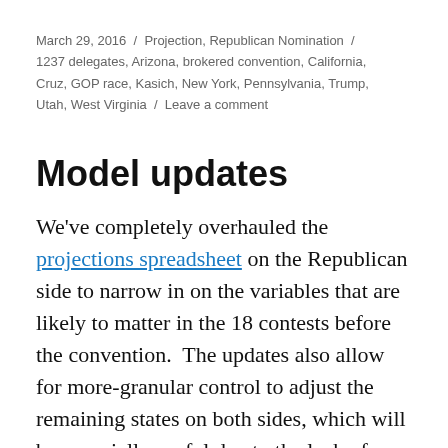March 29, 2016 / Projection, Republican Nomination / 1237 delegates, Arizona, brokered convention, California, Cruz, GOP race, Kasich, New York, Pennsylvania, Trump, Utah, West Virginia / Leave a comment
Model updates
We've completely overhauled the projections spreadsheet on the Republican side to narrow in on the variables that are likely to matter in the 18 contests before the convention.  The updates also allow for more-granular control to adjust the remaining states on both sides, which will be especially useful due to the lack of state-level polling data for the upcoming